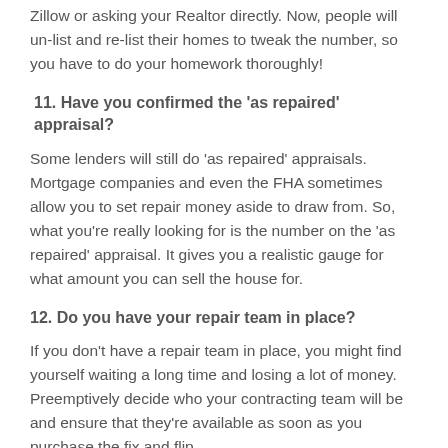Zillow or asking your Realtor directly. Now, people will un-list and re-list their homes to tweak the number, so you have to do your homework thoroughly!
11. Have you confirmed the 'as repaired' appraisal?
Some lenders will still do 'as repaired' appraisals. Mortgage companies and even the FHA sometimes allow you to set repair money aside to draw from. So, what you're really looking for is the number on the 'as repaired' appraisal. It gives you a realistic gauge for what amount you can sell the house for.
12. Do you have your repair team in place?
If you don't have a repair team in place, you might find yourself waiting a long time and losing a lot of money. Preemptively decide who your contracting team will be and ensure that they're available as soon as you purchase the fix and flip.